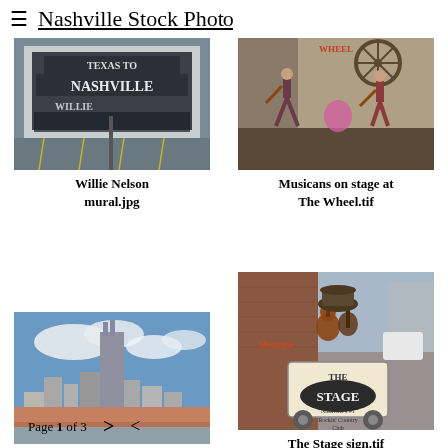Nashville Stock Photo
[Figure (photo): Willie Nelson mural on a building wall, black and white, text reads Texas to Nashville Willie, with a parking lot in the foreground]
Willie Nelson mural.jpg
[Figure (photo): Musicians on stage at The Wheel bar/venue, with neon signs visible including a wagon wheel]
Musicans on stage at The Wheel.tif
[Figure (photo): Nashville skyline with the AT&T Batman building prominent, blue sky with clouds]
[Figure (photo): The Stage sign on Broadway Nashville, a cart/sign with guitar on top and text reading The Stage Nashville's Rockin' Country Club]
The Stage sign.tif
Page 1 of 3